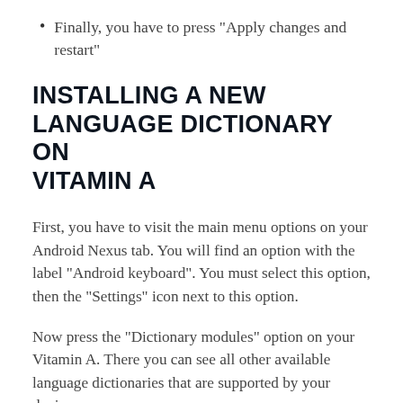Finally, you have to press “Apply changes and restart”
INSTALLING A NEW LANGUAGE DICTIONARY ON VITAMIN A
First, you have to visit the main menu options on your Android Nexus tab. You will find an option with the label “Android keyboard”. You must select this option, then the “Settings” icon next to this option.
Now press the “Dictionary modules” option on your Vitamin A. There you can see all other available language dictionaries that are supported by your device.